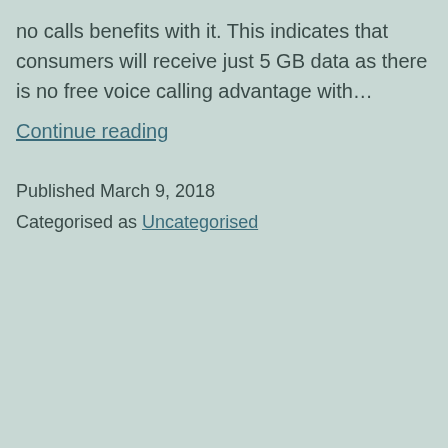no calls benefits with it. This indicates that consumers will receive just 5 GB data as there is no free voice calling advantage with…
Continue reading
Published March 9, 2018
Categorised as Uncategorised